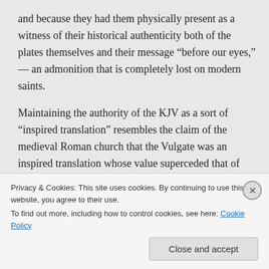and because they had them physically present as a witness of their historical authenticity both of the plates themselves and their message “before our eyes,” — an admonition that is completely lost on modern saints.
Maintaining the authority of the KJV as a sort of “inspired translation” resembles the claim of the medieval Roman church that the Vulgate was an inspired translation whose value superceded that of any
Privacy & Cookies: This site uses cookies. By continuing to use this website, you agree to their use.
To find out more, including how to control cookies, see here: Cookie Policy